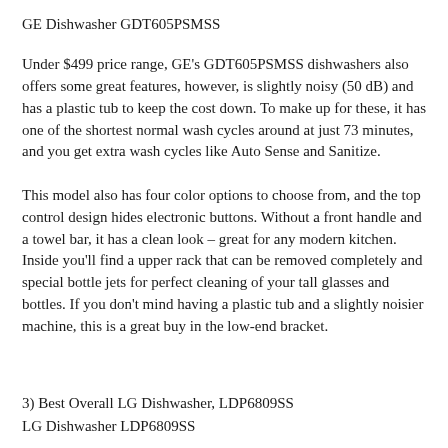GE Dishwasher GDT605PSMSS
Under $499 price range, GE's GDT605PSMSS dishwashers also offers some great features, however, is slightly noisy (50 dB) and has a plastic tub to keep the cost down. To make up for these, it has one of the shortest normal wash cycles around at just 73 minutes, and you get extra wash cycles like Auto Sense and Sanitize.
This model also has four color options to choose from, and the top control design hides electronic buttons. Without a front handle and a towel bar, it has a clean look – great for any modern kitchen. Inside you'll find a upper rack that can be removed completely and special bottle jets for perfect cleaning of your tall glasses and bottles. If you don't mind having a plastic tub and a slightly noisier machine, this is a great buy in the low-end bracket.
3) Best Overall LG Dishwasher, LDP6809SS
LG Dishwasher LDP6809SS